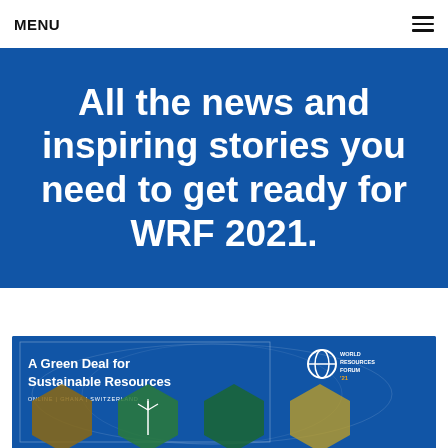MENU
All the news and inspiring stories you need to get ready for WRF 2021.
[Figure (screenshot): WRF 2021 promotional banner: 'A Green Deal for Sustainable Resources' with World Resources Forum 21 logo and hexagonal image collage, text: ONLINE | GHANA | SWITZERLAND]